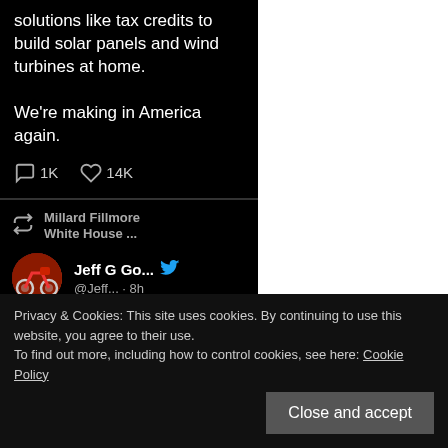solutions like tax credits to build solar panels and wind turbines at home.

We're making in America again.
1K  14K
Millard Fillmore White House ...
Jeff G Go... @Jeff... · 8h
Replying to @dhtoomey and @adamdavidson
Privacy & Cookies: This site uses cookies. By continuing to use this website, you agree to their use.
To find out more, including how to control cookies, see here: Cookie Policy
Close and accept